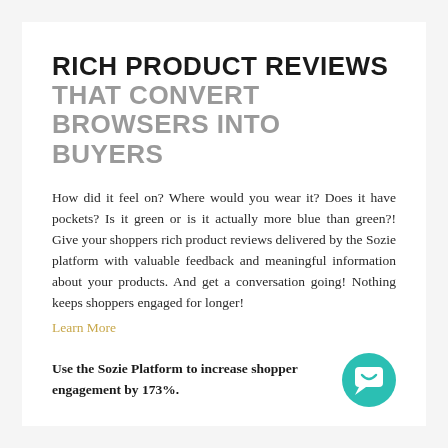RICH PRODUCT REVIEWS THAT CONVERT BROWSERS INTO BUYERS
How did it feel on? Where would you wear it? Does it have pockets? Is it green or is it actually more blue than green?! Give your shoppers rich product reviews delivered by the Sozie platform with valuable feedback and meaningful information about your products. And get a conversation going! Nothing keeps shoppers engaged for longer!
Learn More
Use the Sozie Platform to increase shopper engagement by 173%.